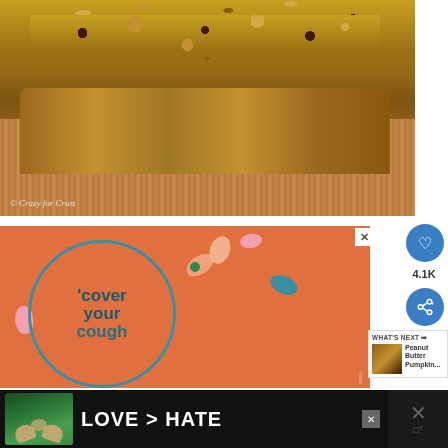[Figure (photo): Close-up photo of pumpkin chocolate chip bread or muffins with crumble topping, shown on a wooden surface. Watermark reads '© Crazy for Crust'.]
[Figure (infographic): Orange advertisement with a teal circle containing the text 'COVER YOUR COUGH' in bold stylized lettering, decorated with colorful leaf and hand shapes. Ad close button (X) in top right.]
WHAT'S NEXT → Peanut Butter Pumpkin...
[Figure (photo): Bottom banner advertisement with dark background showing heart hands over green nature background and text 'LOVE > HATE' in white bold lettering. Has a close X button.]